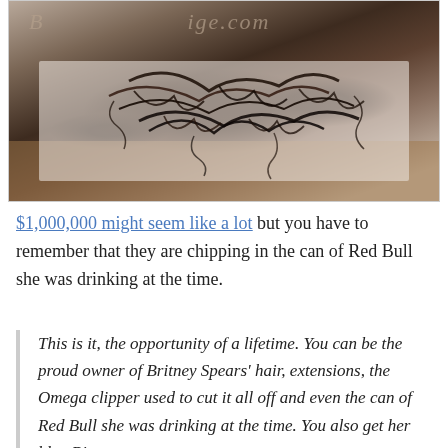[Figure (photo): Photo of dark curly hair clippings/extensions scattered on a white surface, with a watermark text partially visible at the top reading something like 'B...ige.com']
$1,000,000 might seem like a lot but you have to remember that they are chipping in the can of Red Bull she was drinking at the time.
This is it, the opportunity of a lifetime. You can be the proud owner of Britney Spears' hair, extensions, the Omega clipper used to cut it all off and even the can of Red Bull she was drinking at the time. You also get her blue Bic